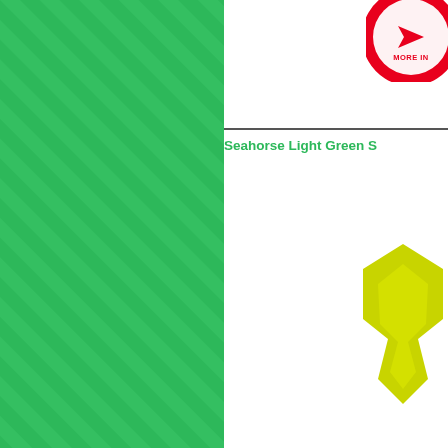[Figure (illustration): Left half: green background with diagonal stripe pattern (lighter green diagonal lines). Right half: white background with a red circular badge logo in top-right corner (partially cropped), a dark horizontal divider line, bold green text 'Seahorse Light Green S' (partially cropped), and a yellow-green geometric seahorse shape in the bottom-right corner (partially cropped).]
Seahorse Light Green S